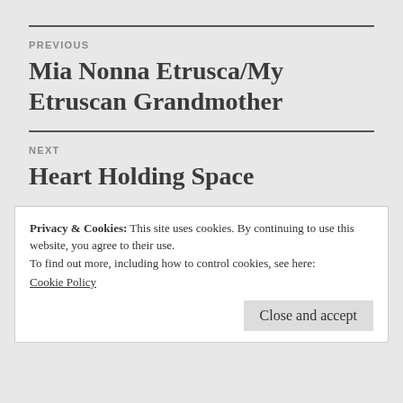PREVIOUS
Mia Nonna Etrusca/My Etruscan Grandmother
NEXT
Heart Holding Space
Privacy & Cookies: This site uses cookies. By continuing to use this website, you agree to their use.
To find out more, including how to control cookies, see here:
Cookie Policy
Close and accept